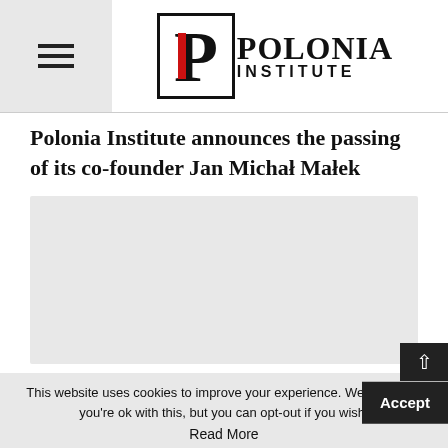Polonia Institute
Polonia Institute announces the passing of its co-founder Jan Michał Małek
[Figure (photo): Large image placeholder area (light gray), likely a photograph related to Jan Michał Małek]
This website uses cookies to improve your experience. We'll a... you're ok with this, but you can opt-out if you wish. Accept
Read More